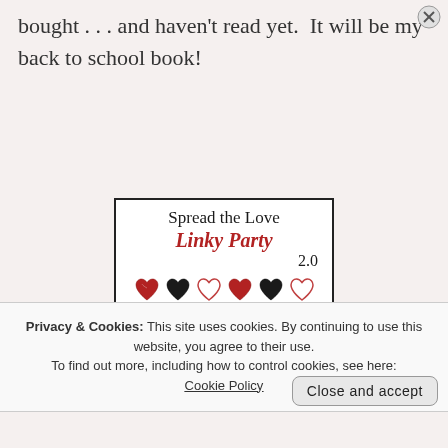bought . . . and haven't read yet.  It will be my back to school book!
[Figure (illustration): Spread the Love Linky Party 2.0 badge with hearts and website URL www.thesteadfastreader.com]
Privacy & Cookies: This site uses cookies. By continuing to use this website, you agree to their use. To find out more, including how to control cookies, see here: Cookie Policy
Close and accept